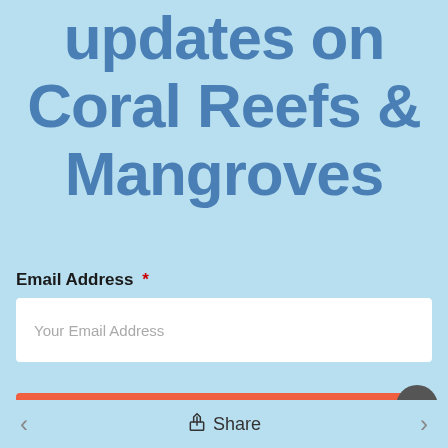updates on Coral Reefs & Mangroves
Email Address *
Your Email Address
Submit
Share